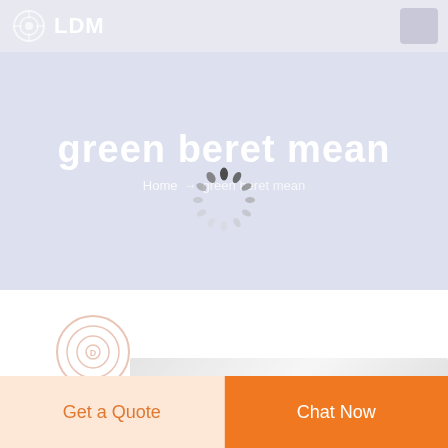LDM
green beret mean
Home → green beret mean
[Figure (other): Loading spinner animation — circular arrangement of dark oval dashes radiating outward]
[Figure (logo): DEEKON logo — circular target-like icon above the text DEEKON in orange letters]
[Figure (photo): Partial product image visible at bottom of page — appears to be fabric or textile product in grey tones]
Get a Quote
Chat Now